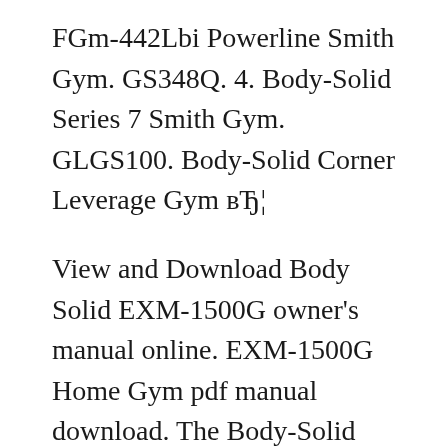FGm-442Lbi Powerline Smith Gym. GS348Q. 4. Body-Solid Series 7 Smith Gym. GLGS100. Body-Solid Corner Leverage Gym вЂ¦
View and Download Body Solid EXM-1500G owner's manual online. EXM-1500G Home Gym pdf manual download. The Body-Solid G1S Selectorized Home Gym packs a lot of power, strength and durability into the smallest footprint available. Centered on a 160 lb. selectorized weight stack, this gym allows over 40 toning, trimming and strength training exercises.
Shop Body Solid gym equipment at DICK'S Sporting Goods. Browse a wide selection of commercial and home gym equipment from